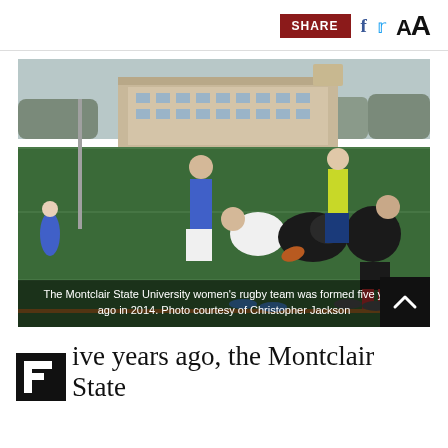SHARE  f  🐦  AA
[Figure (photo): Women's rugby players in a scrum on a green turf field. Players in blue and white uniforms clash with players in black and red. A referee in a yellow vest watches. A large brick building and bare trees are visible in the background.]
The Montclair State University women's rugby team was formed five years ago in 2014. Photo courtesy of Christopher Jackson
ive years ago, the Montclair State